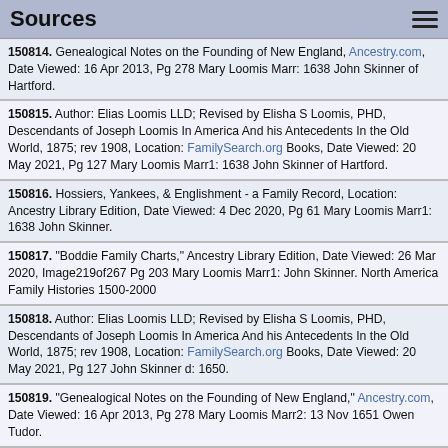Sources
150814. Genealogical Notes on the Founding of New England, Ancestry.com, Date Viewed: 16 Apr 2013, Pg 278 Mary Loomis Marr: 1638 John Skinner of Hartford.
150815. Author: Elias Loomis LLD; Revised by Elisha S Loomis, PHD, Descendants of Joseph Loomis In America And his Antecedents In the Old World, 1875; rev 1908, Location: FamilySearch.org Books, Date Viewed: 20 May 2021, Pg 127 Mary Loomis Marr1: 1638 John Skinner of Hartford.
150816. Hossiers, Yankees, & Englishment - a Family Record, Location: Ancestry Library Edition, Date Viewed: 4 Dec 2020, Pg 61 Mary Loomis Marr1: 1638 John Skinner.
150817. "Boddie Family Charts," Ancestry Library Edition, Date Viewed: 26 Mar 2020, Image219of267 Pg 203 Mary Loomis Marr1: John Skinner. North America Family Histories 1500-2000
150818. Author: Elias Loomis LLD; Revised by Elisha S Loomis, PHD, Descendants of Joseph Loomis In America And his Antecedents In the Old World, 1875; rev 1908, Location: FamilySearch.org Books, Date Viewed: 20 May 2021, Pg 127 John Skinner d: 1650.
150819. "Genealogical Notes on the Founding of New England," Ancestry.com, Date Viewed: 16 Apr 2013, Pg 278 Mary Loomis Marr2: 13 Nov 1651 Owen Tudor.
150820. Author: Elias Loomis LLD; Revised by Elisha S Loomis, PHD, Descendants of Joseph Loomis In America And his Antecedents In the Old World, 1875; rev 1908, Location: FamilySearch.org Books, Date Viewed: 20 May 2021, Pg 127 Mary Loomis Marr2: 13 Nov 1651 Owen Tudor.
150821. Hossiers, Yankees, & Englishment - a Family Record, Location: Ancestry Library Edition, Date Viewed: 4 Dec 2020, Pg 61 Mary Loomis